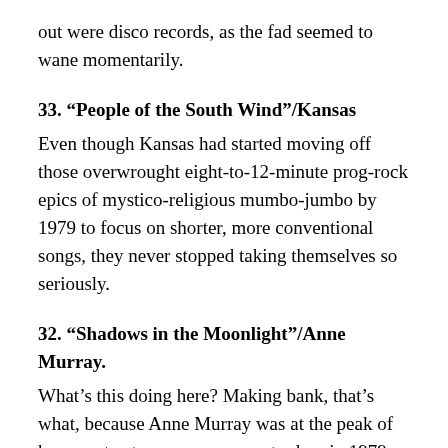out were disco records, as the fad seemed to wane momentarily.
33. “People of the South Wind”/Kansas
Even though Kansas had started moving off those overwrought eight-to-12-minute prog-rock epics of mystico-religious mumbo-jumbo by 1979 to focus on shorter, more conventional songs, they never stopped taking themselves so seriously.
32. “Shadows in the Moonlight”/Anne Murray.
What’s this doing here? Making bank, that’s what, because Anne Murray was at the peak of her country-to-pop crossover stardom in 1979.
31. “Sha-la-la-la Song”/Le F…